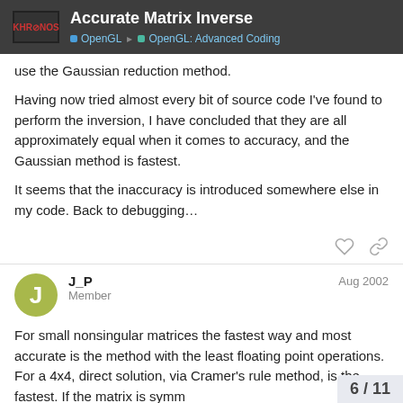Accurate Matrix Inverse | OpenGL > OpenGL: Advanced Coding
use the Gaussian reduction method.
Having now tried almost every bit of source code I've found to perform the inversion, I have concluded that they are all approximately equal when it comes to accuracy, and the Gaussian method is fastest.
It seems that the inaccuracy is introduced somewhere else in my code. Back to debugging…
J_P — Member — Aug 2002
For small nonsingular matrices the fastest way and most accurate is the method with the least floating point operations. For a 4x4, direct solution, via Cramer's rule method, is the fastest. If the matrix is symm
6 / 11